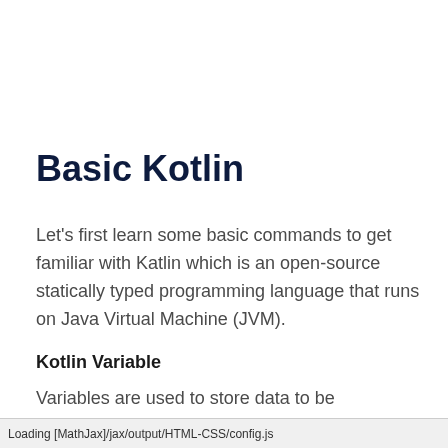Basic Kotlin
Let's first learn some basic commands to get familiar with Katlin which is an open-source statically typed programming language that runs on Java Virtual Machine (JVM).
Kotlin Variable
Variables are used to store data to be manipulated and referenced in the program. It is fundamentally a unit of storage in a volatile memory it is from expository
Loading [MathJax]/jax/output/HTML-CSS/config.js